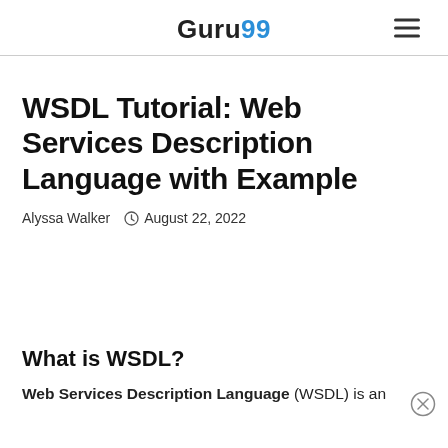Guru99
WSDL Tutorial: Web Services Description Language with Example
Alyssa Walker   August 22, 2022
What is WSDL?
Web Services Description Language (WSDL) is an